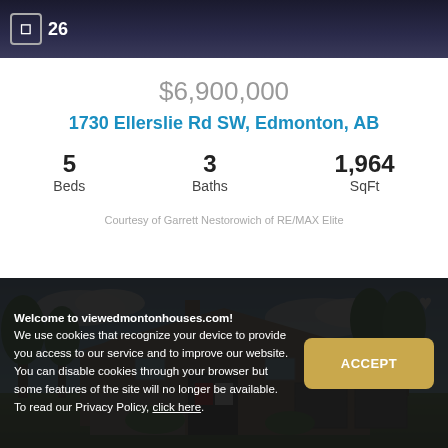26
$6,900,000
1730 Ellerslie Rd SW, Edmonton, AB
5 Beds   3 Baths   1,964 SqFt
Courtesy of Garrett Nestorowich of RE/MAX Elite
[Figure (photo): Exterior photo of a large luxury home with stone facade, multiple garage bays, large trees, and blue sky backdrop]
Welcome to viewedmontonhouses.com! We use cookies that recognize your device to provide you access to our service and to improve our website. You can disable cookies through your browser but some features of the site will no longer be available. To read our Privacy Policy, click here.